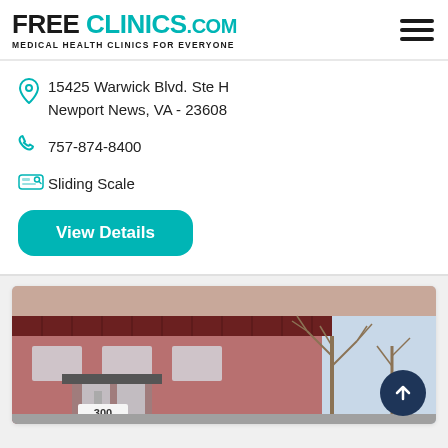FREE CLINICS.COM - Medical Health Clinics For Everyone
15425 Warwick Blvd. Ste H
Newport News, VA - 23608
757-874-8400
Sliding Scale
View Details
[Figure (photo): Exterior photo of a brick building with a dark red/maroon awning and a sign showing '300' at the entrance, with bare trees in the background.]